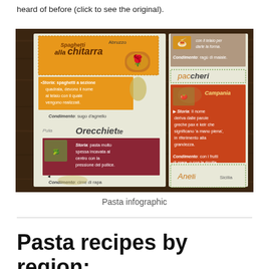heard of before (click to see the original).
[Figure (infographic): Pasta infographic showing Italian regional pasta types: Spaghetti alla chitarra (Abruzzo), Orecchiette (Puglia), Paccheri (Campania), and Anelli (Sicilia), with images, maps, storia (history), and condimento (sauce) descriptions. Dark wood background with colorful sections in orange, maroon, and olive-green.]
Pasta infographic
Pasta recipes by region: